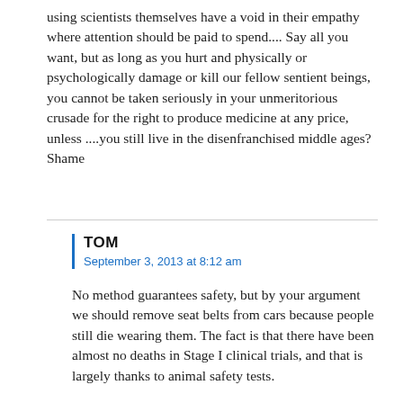using scientists themselves have a void in their empathy where attention should be paid to spend.... Say all you want, but as long as you hurt and physically or psychologically damage or kill our fellow sentient beings, you cannot be taken seriously in your unmeritorious crusade for the right to produce medicine at any price, unless ....you still live in the disenfranchised middle ages? Shame
TOM
September 3, 2013 at 8:12 am
No method guarantees safety, but by your argument we should remove seat belts from cars because people still die wearing them. The fact is that there have been almost no deaths in Stage I clinical trials, and that is largely thanks to animal safety tests.